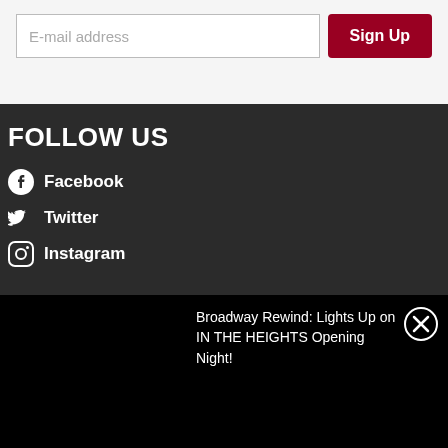E-mail address
Sign Up
FOLLOW US
Facebook
Twitter
Instagram
Broadway Rewind: Lights Up on IN THE HEIGHTS Opening Night!